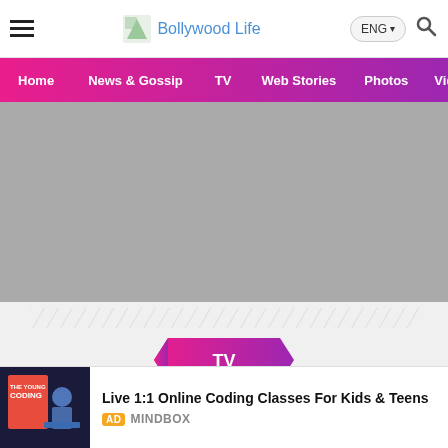Bollywood Life
[Figure (screenshot): Gray placeholder image area for article hero image]
[Figure (infographic): TV badge with pink-to-purple gradient ribbon shape with 'TV' text in white]
Pawandeep Rajan and Arunita
[Figure (photo): Advertisement: Live 1:1 Online Coding Classes For Kids & Teens by MINDBOX, showing a child at a laptop with coding book cover]